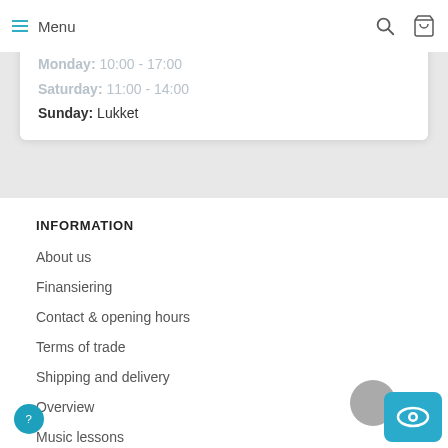Menu
Monday: 10:00 - 17:00
Saturday: 11:00 - 14:00
Sunday: Lukket
INFORMATION
About us
Finansiering
Contact & opening hours
Terms of trade
Shipping and delivery
Overview
Music lessons
Return policy
Cookies